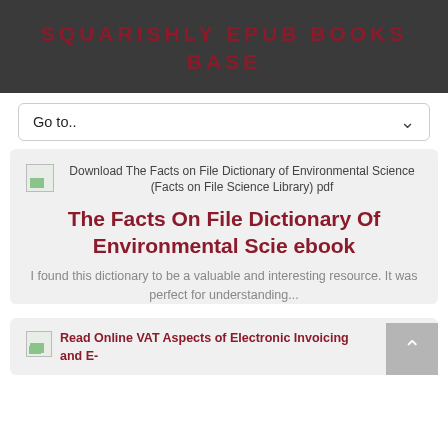SQUARISHLY EPUB BOOKS BASE
Go to..
Download The Facts on File Dictionary of Environmental Science (Facts on File Science Library) pdf
The Facts On File Dictionary Of Environmental Scie ebook
I found this dictionary to be a valuable and interesting resource. It was perfect for understanding...
Read Online VAT Aspects of Electronic Invoicing and E-